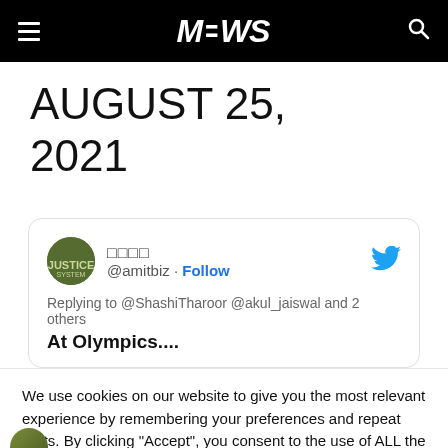MEWS
AUGUST 25, 2021
[Figure (screenshot): Embedded tweet from @amitbiz replying to @ShashiTharoor @akul_jaiswal and 2 others. Tweet text: 'At Olympics....' with Twitter bird logo.]
We use cookies on our website to give you the most relevant experience by remembering your preferences and repeat visits. By clicking “Accept”, you consent to the use of ALL the cookies.
Cookie settings   ACCEPT